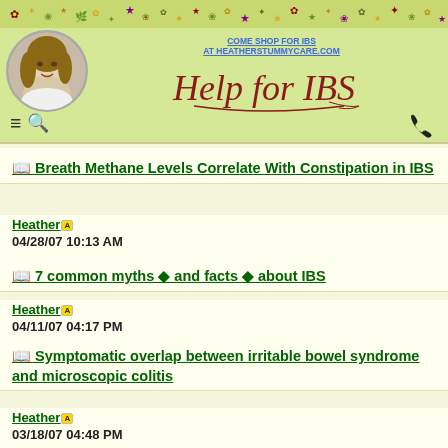[Figure (illustration): Website header banner with floral decoration strip, circular portrait photo of a woman, shop link text, and Help for IBS cursive logo. Navigation hamburger menu, search icon, and phone icon below.]
Breath Methane Levels Correlate With Constipation in IBS
Heather
04/28/07 10:13 AM
7 common myths and facts about IBS
Heather
04/11/07 04:17 PM
Symptomatic overlap between irritable bowel syndrome and microscopic colitis
Heather
03/18/07 04:48 PM